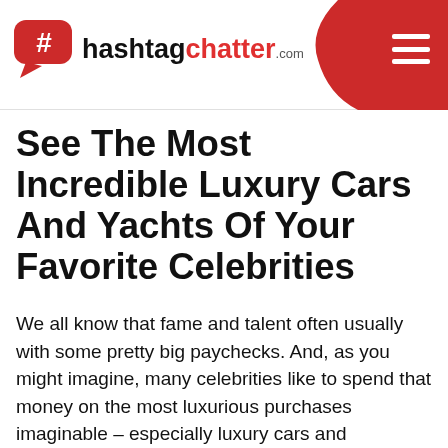hashtagchatter.com
See The Most Incredible Luxury Cars And Yachts Of Your Favorite Celebrities
We all know that fame and talent often usually with some pretty big paychecks. And, as you might imagine, many celebrities like to spend that money on the most luxurious purchases imaginable – especially luxury cars and superyachts! While someone only truly ever needs one car, more than one celebrity has treated themselves to entire vehicular collections!